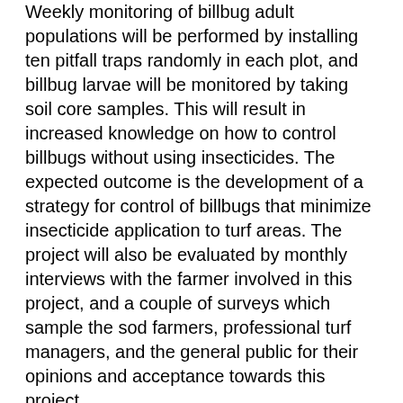Weekly monitoring of billbug adult populations will be performed by installing ten pitfall traps randomly in each plot, and billbug larvae will be monitored by taking soil core samples. This will result in increased knowledge on how to control billbugs without using insecticides. The expected outcome is the development of a strategy for control of billbugs that minimize insecticide application to turf areas. The project will also be evaluated by monthly interviews with the farmer involved in this project, and a couple of surveys which sample the sod farmers, professional turf managers, and the general public for their opinions and acceptance towards this project.
Project objectives from proposal:
The proposed research will result in an increased knowledge and understanding of billbug control methods, improvement of turf quality due to mechanical control methods and reduced amount of insecticides applied, and the economic benefits